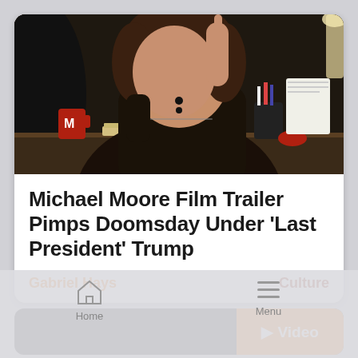[Figure (photo): A heavyset man with curly dark hair wearing a dark shirt, pointing one finger upward, seated at a desk with a red mug, papers, pens, and a lamp visible. Studio/talk show setting.]
Michael Moore Film Trailer Pimps Doomsday Under ‘Last President’ Trump
Gabriel Hays
Culture
[Figure (screenshot): Video card with dark background and orange Video button with play icon]
Home   Menu